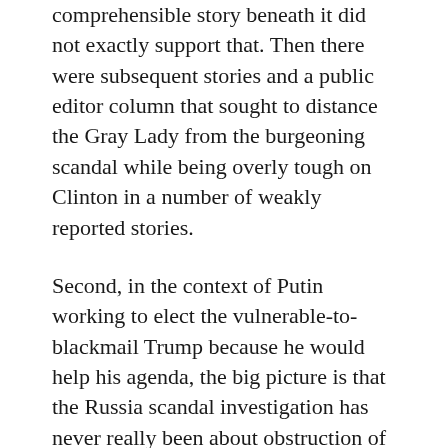comprehensible story beneath it did not exactly support that. Then there were subsequent stories and a public editor column that sought to distance the Gray Lady from the burgeoning scandal while being overly tough on Clinton in a number of weakly reported stories.
Second, in the context of Putin working to elect the vulnerable-to-blackmail Trump because he would help his agenda, the big picture is that the Russia scandal investigation has never really been about obstruction of justice on the one hand and collusion on the other.  As The Times bombshell revealed despite its maddening nuanced-ness, the investigation has never really